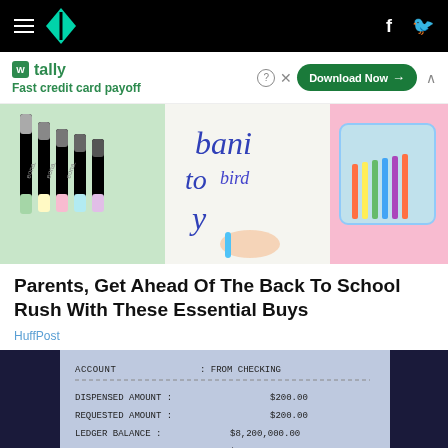HuffPost navigation bar with logo, hamburger menu, Facebook and Twitter icons
[Figure (screenshot): Advertisement banner for Tally app - Fast credit card payoff, with Download Now button]
[Figure (photo): Collage of back-to-school supplies: colored markers/highlighters on left, child writing cursive in middle, colorful pencil case on right]
Parents, Get Ahead Of The Back To School Rush With These Essential Buys
HuffPost
[Figure (photo): ATM receipt showing: ACCOUNT: FROM CHECKING, DISPENSED AMOUNT: $200.00, REQUESTED AMOUNT: $200.00, LEDGER BALANCE: $8,200,000.00, AVAILABLE BALANCE: $8,200,000.00, PROVED]